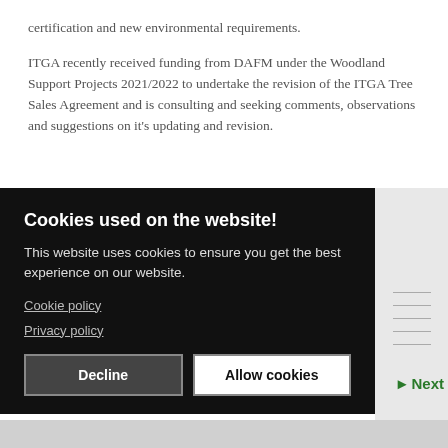certification and new environmental requirements.
ITGA recently received funding from DAFM under the Woodland Support Projects 2021/2022 to undertake the revision of the ITGA Tree Sales Agreement and is consulting and seeking comments, observations and suggestions on it's updating and revision.
Cookies used on the website!
This website uses cookies to ensure you get the best experience on our website.
Cookie policy
Privacy policy
Decline
Allow cookies
Next